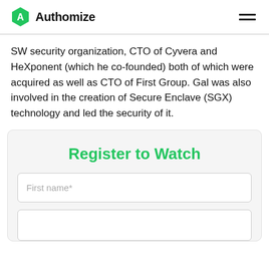Authomize
SW security organization, CTO of Cyvera and HeXponent (which he co-founded) both of which were acquired as well as CTO of First Group. Gal was also involved in the creation of Secure Enclave (SGX) technology and led the security of it.
Register to Watch
First name*